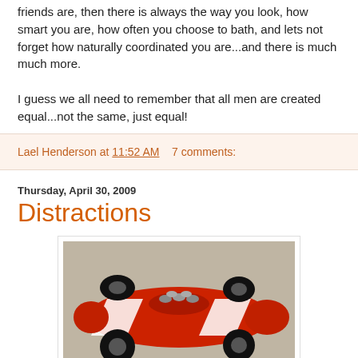friends are, then there is always the way you look, how smart you are, how often you choose to bath, and lets not forget how naturally coordinated you are...and there is much much more.
I guess we all need to remember that all men are created equal...not the same, just equal!
Lael Henderson at 11:52 AM    7 comments:
Thursday, April 30, 2009
Distractions
[Figure (photo): A red pinewood derby style toy car with white lightning bolt stripes, black wheels, and silver engine detail pieces on top, viewed from above at a slight angle.]